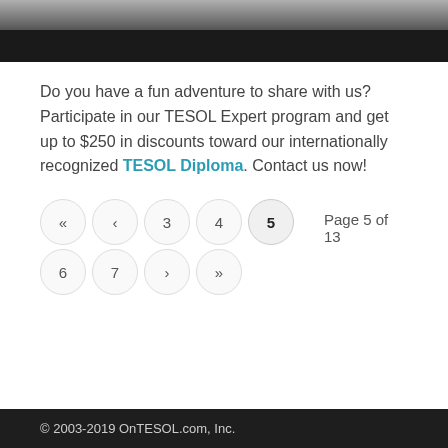[Figure (photo): Top of page photo showing runners/athletes at what appears to be a race event, partially cropped, fading to dark at the bottom.]
Do you have a fun adventure to share with us? Participate in our TESOL Expert program and get up to $250 in discounts toward our internationally recognized TESOL Diploma. Contact us now!
« ‹ 3 4 5   Page 5 of 13
6 7 › »
© 2003-2019 OnTESOL.com, Inc.